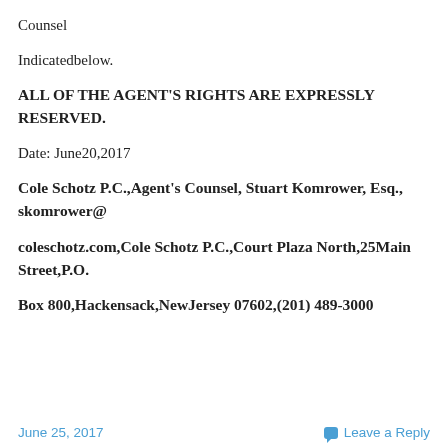Counsel
Indicatedbelow.
ALL OF THE AGENT'S RIGHTS ARE EXPRESSLY RESERVED.
Date: June20,2017
Cole Schotz P.C.,Agent's Counsel, Stuart Komrower, Esq., skomrower@
coleschotz.com,Cole Schotz P.C.,Court Plaza North,25Main Street,P.O.
Box 800,Hackensack,NewJersey 07602,(201) 489-3000
June 25, 2017    Leave a Reply